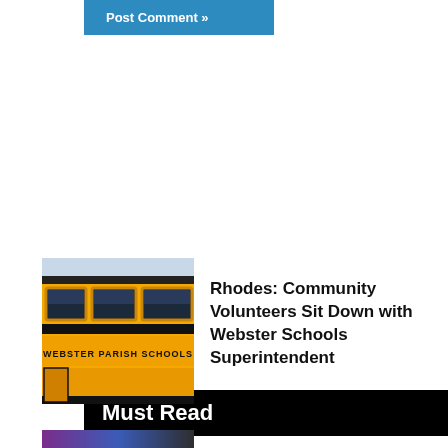Post Comment »
Must Read
[Figure (photo): Side of a yellow school bus with text 'WEBSTER PARISH SCHOOLS' painted on it, windows visible]
Rhodes: Community Volunteers Sit Down with Webster Schools Superintendent
[Figure (photo): Bottom strip of another article's thumbnail image, partially visible]